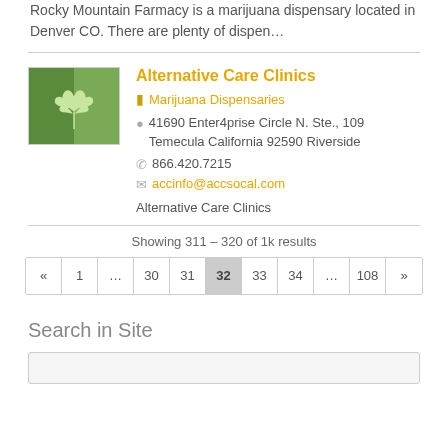Rocky Mountain Farmacy is a marijuana dispensary located in Denver CO. There are plenty of dispen…
Alternative Care Clinics
Marijuana Dispensaries
41690 Enter4prise Circle N. Ste., 109 Temecula California 92590 Riverside
866.420.7215
accinfo@accsocal.com
Alternative Care Clinics
Showing 311 – 320 of 1k results
« 1 … 30 31 32 33 34 … 108 »
Search in Site